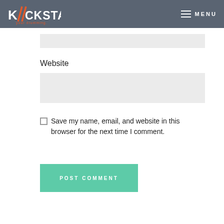KICKSTART your drumming. MENU
Website
Save my name, email, and website in this browser for the next time I comment.
POST COMMENT